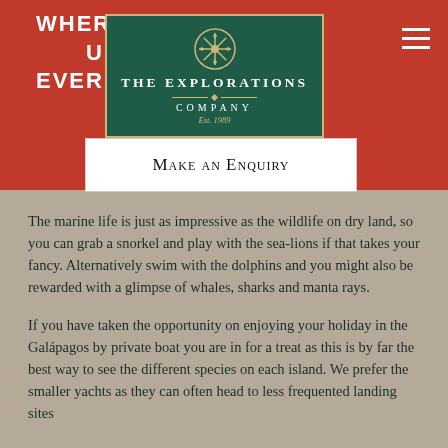WHERE NO TWO JOURNEYS HAVE EVER BEEN
[Figure (logo): The Explorations Company logo — dark green rectangle with snowflake emblem, gold decorative dividers, white serif text reading 'THE EXPLORATIONS COMPANY', Est. 1989]
Make an Enquiry
The marine life is just as impressive as the wildlife on dry land, so you can grab a snorkel and play with the sea-lions if that takes your fancy. Alternatively swim with the dolphins and you might also be rewarded with a glimpse of whales, sharks and manta rays.
If you have taken the opportunity on enjoying your holiday in the Galápagos by private boat you are in for a treat as this is by far the best way to see the different species on each island. We prefer the smaller yachts as they can often head to less frequented landing sites